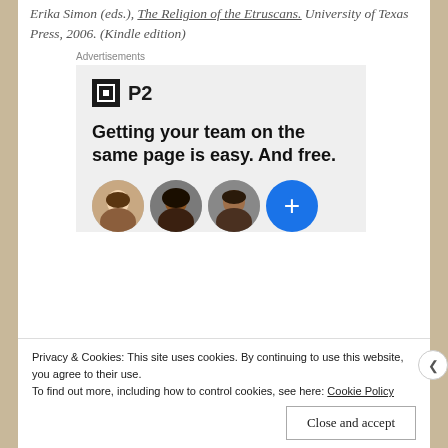Erika Simon (eds.), The Religion of the Etruscans. University of Texas Press, 2006. (Kindle edition)
Advertisements
[Figure (screenshot): P2 advertisement banner with logo, tagline 'Getting your team on the same page is easy. And free.' and circular avatar photos with a blue plus circle.]
Privacy & Cookies: This site uses cookies. By continuing to use this website, you agree to their use.
To find out more, including how to control cookies, see here: Cookie Policy
Close and accept